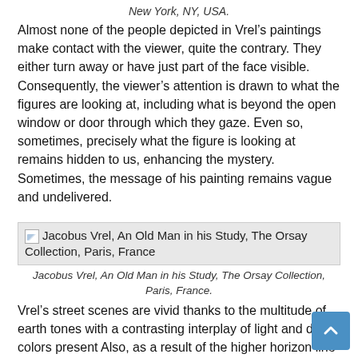New York, NY, USA.
Almost none of the people depicted in Vrel’s paintings make contact with the viewer, quite the contrary. They either turn away or have just part of the face visible. Consequently, the viewer’s attention is drawn to what the figures are looking at, including what is beyond the open window or door through which they gaze. Even so, sometimes, precisely what the figure is looking at remains hidden to us, enhancing the mystery. Sometimes, the message of his painting remains vague and undelivered.
[Figure (photo): Placeholder image block for Jacobus Vrel, An Old Man in his Study, The Orsay Collection, Paris, France]
Jacobus Vrel, An Old Man in his Study, The Orsay Collection, Paris, France.
Vrel’s street scenes are vivid thanks to the multitude of earth tones with a contrasting interplay of light and dark colors present Also, as a result of the higher horizon line and the frame-filling buildings, the urban space seems self-contained almost like an interior evoking a stage-like set. Narrow